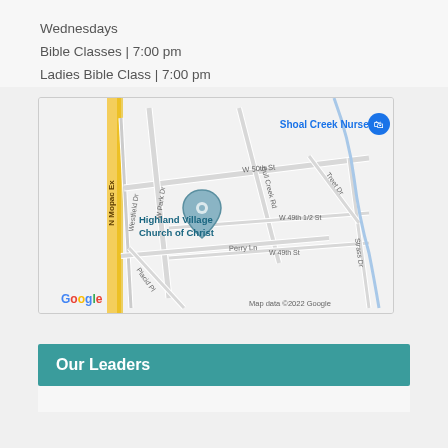Wednesdays
Bible Classes | 7:00 pm
Ladies Bible Class | 7:00 pm
[Figure (map): Google Maps screenshot showing Highland Village Church of Christ location near N Mopac Expressway and W 50th St in Austin, TX. Nearby landmarks include Shoal Creek Nursery. Streets visible: W 50th St, W Park Dr, Bull Creek Rd, Perry Ln, Placid Pl, W 49th 1/2 St, W 49th St, Westfield Dr, Strass Dr, Treet Dr. Map data ©2022 Google.]
Our Leaders